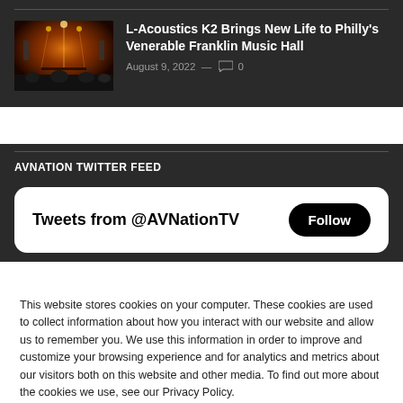[Figure (photo): Concert venue photo showing stage lighting in orange/red tones with crowd]
L-Acoustics K2 Brings New Life to Philly's Venerable Franklin Music Hall
August 9, 2022 — 0
AVNATION TWITTER FEED
[Figure (screenshot): Twitter widget showing 'Tweets from @AVNationTV' with a Follow button]
This website stores cookies on your computer. These cookies are used to collect information about how you interact with our website and allow us to remember you. We use this information in order to improve and customize your browsing experience and for analytics and metrics about our visitors both on this website and other media. To find out more about the cookies we use, see our Privacy Policy.
Accept